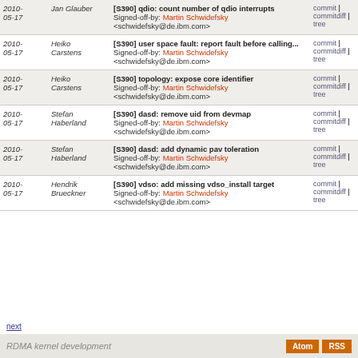| Date | Author | Commit | Links |
| --- | --- | --- | --- |
| 2010-05-17 | Jan Glauber | [S390] qdio: count number of qdio interrupts
Signed-off-by: Martin Schwidefsky <schwidefsky@de.ibm.com> | commit | commitdiff | tree |
| 2010-05-17 | Heiko Carstens | [S390] user space fault: report fault before calling...
Signed-off-by: Martin Schwidefsky <schwidefsky@de.ibm.com> | commit | commitdiff | tree |
| 2010-05-17 | Heiko Carstens | [S390] topology: expose core identifier
Signed-off-by: Martin Schwidefsky <schwidefsky@de.ibm.com> | commit | commitdiff | tree |
| 2010-05-17 | Stefan Haberland | [S390] dasd: remove uid from devmap
Signed-off-by: Martin Schwidefsky <schwidefsky@de.ibm.com> | commit | commitdiff | tree |
| 2010-05-17 | Stefan Haberland | [S390] dasd: add dynamic pav toleration
Signed-off-by: Martin Schwidefsky <schwidefsky@de.ibm.com> | commit | commitdiff | tree |
| 2010-05-17 | Hendrik Brueckner | [S390] vdso: add missing vdso_install target
Signed-off-by: Martin Schwidefsky <schwidefsky@de.ibm.com> | commit | commitdiff | tree |
next
RDMA kernel development  Atom  RSS